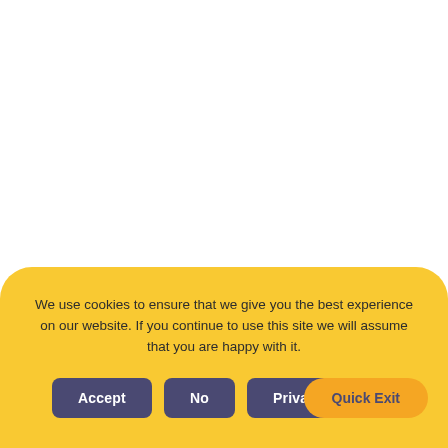We use cookies to ensure that we give you the best experience on our website. If you continue to use this site we will assume that you are happy with it.
Accept | No | Privacy policy | Quick Exit